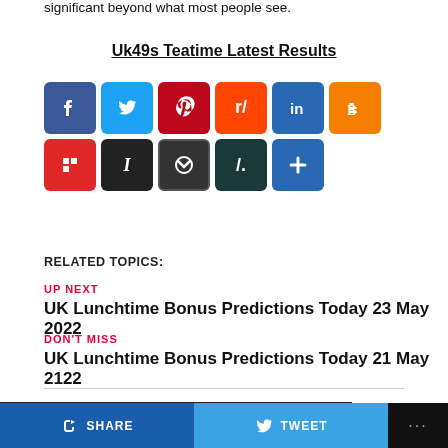significant beyond what most people see.
Uk49s Teatime Latest Results
[Figure (infographic): Row of social media share icons: Facebook, Twitter, Pinterest, Reddit, LinkedIn, Blogger, Flipboard, Instapaper, Pocket, Slashdot, plus a generic Add button]
RELATED TOPICS:
UP NEXT
UK Lunchtime Bonus Predictions Today 23 May 2022
DON'T MISS
UK Lunchtime Bonus Predictions Today 21 May 2122
CLICK TO COMMENT
SHARE    TWEET    ...